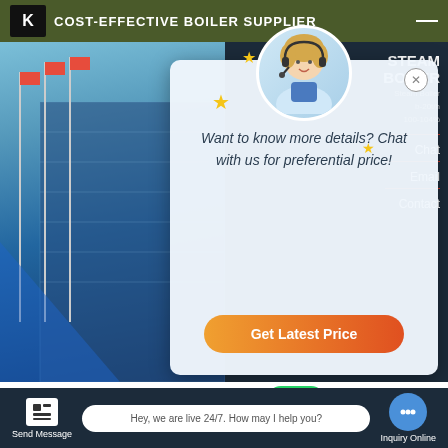COST-EFFECTIVE BOILER SUPPLIER
[Figure (screenshot): Website screenshot showing a boiler supplier page with a chat popup overlay, building image background, steam boiler product panel, WhatsApp contact buttons, and a bottom navigation bar]
STEAM BOILER
Steam Boiler
b-20t/h
100-104%
Want to know more details? Chat with us for preferential price!
Get Latest Price
Chat
Email
Contact
20t Oil Boiler Che... Ky...
Contact us now!
Contact us now!
Send Message
Hey, we are live 24/7. How may I help you?
Inquiry Online